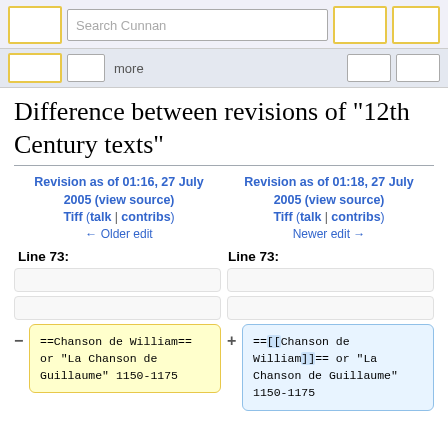Search Cunnan
Difference between revisions of "12th Century texts"
Revision as of 01:16, 27 July 2005 (view source)
Tiff (talk | contribs)
← Older edit
Revision as of 01:18, 27 July 2005 (view source)
Tiff (talk | contribs)
Newer edit →
Line 73:
Line 73:
==Chanson de William==
or "La Chanson de
Guillaume" 1150-1175
==[[Chanson de William]]== or "La Chanson de Guillaume" 1150-1175